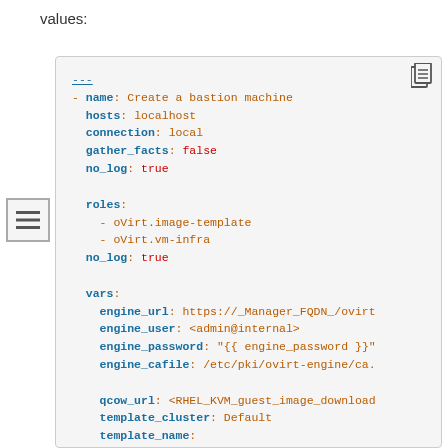values:
[Figure (screenshot): Code block showing YAML Ansible playbook content with syntax highlighting. Contains play definition for 'Create a bastion machine' with hosts, connection, gather_facts, no_log settings, roles (oVirt.image-template, oVirt.vm-infra), vars section with engine_url, engine_user, engine_password, engine_cafile, qcow_url, template_cluster fields.]